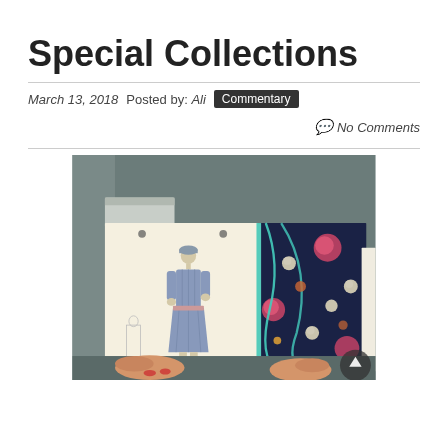Special Collections
March 13, 2018   Posted by: Ali   Commentary   No Comments
[Figure (photo): Hands holding open a portfolio or binder showing a 1920s fashion illustration of a woman in a blue dress and cloche hat on a cream background, alongside a dark navy floral fabric swatch with pink roses and teal curving lines.]